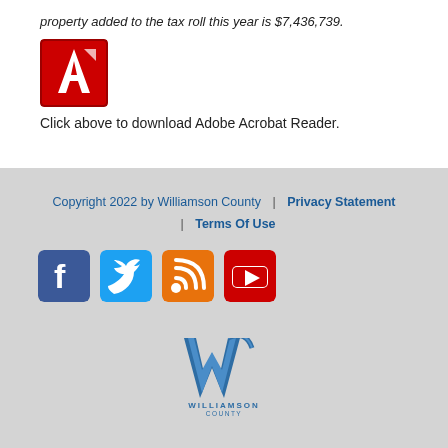property added to the tax roll this year is $7,436,739.
[Figure (logo): Adobe Acrobat Reader icon — red and white PDF logo on dark red background]
Click above to download Adobe Acrobat Reader.
Copyright 2022 by Williamson County | Privacy Statement | Terms Of Use
[Figure (logo): Social media icons: Facebook (blue), Twitter (light blue), RSS (orange), YouTube (red)]
[Figure (logo): Williamson County logo with stylized W and text WILLIAMSON COUNTY 1848]